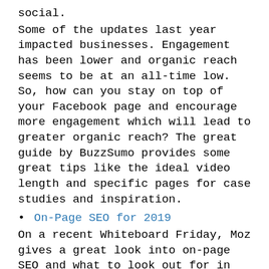social.
Some of the updates last year impacted businesses. Engagement has been lower and organic reach seems to be at an all-time low. So, how can you stay on top of your Facebook page and encourage more engagement which will lead to greater organic reach? The great guide by BuzzSumo provides some great tips like the ideal video length and specific pages for case studies and inspiration.
On-Page SEO for 2019
On a recent Whiteboard Friday, Moz gives a great look into on-page SEO and what to look out for in 2019. SEO is an ever-changing landscape and the best practices to include 2019 go beyond your pages title tags and voice optimization.
DuckDuckGo Broke 9 Billion Searches in 2018, and it's Growing
No longer just the search engine for the super paranoid or anti-Google crowd. DuckDuckGo is growing fast as an